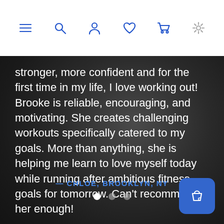[Figure (screenshot): Website navigation bar with icons: hamburger menu, search, user/profile, heart/wishlist, shopping cart, and settings gear. Icons are in blue and gray on white background.]
stronger, more confident and for the first time in my life, I love working out! Brooke is reliable, encouraging, and motivating. She creates challenging workouts specifically catered to my goals. More than anything, she is helping me learn to love myself today while running after ambitious fitness goals for tomorrow. Can't recommend her enough!
— CHLOE, BROOKLYN, NY